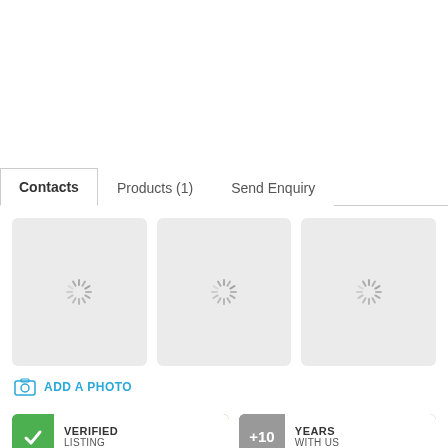[Figure (screenshot): Tab navigation with three tabs: Contacts (active), Products (1), Send Enquiry]
[Figure (screenshot): Three loading placeholder image boxes with spinner icons]
ADD A PHOTO
VERIFIED LISTING
+10 YEARS WITH US